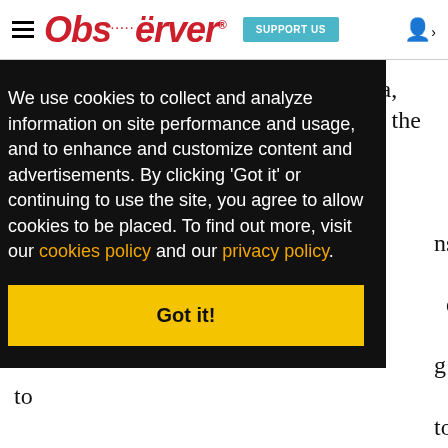Observer — SUPPORT US
If we look at both ends of this dilemma, then, it's one or the other: Either this is the saga of [obscured by overlay] school [obscured] 's a [obscured] ns and [obscured] d- [obscured] g to [obscured] to the [obscured] se. [obscured] st graduating class takes the bar exam. In the
We use cookies to collect and analyze information on site performance and usage, and to enhance and customize content and advertisements. By clicking 'Got it' or continuing to use the site, you agree to allow cookies to be placed. To find out more, visit our cookies policy and our privacy policy.
Got it!